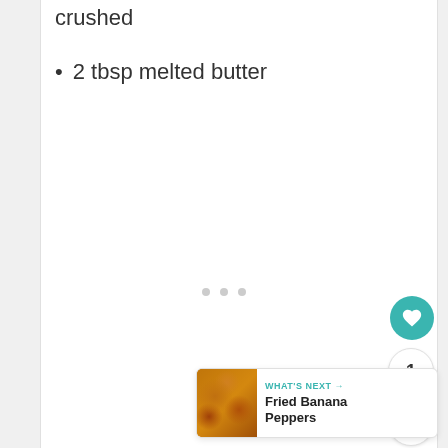crushed
2 tbsp melted butter
[Figure (other): Three loading dots indicator in the center of the page]
[Figure (other): Floating action button with teal heart icon for favoriting]
[Figure (other): Count badge showing number 1]
[Figure (other): Share floating action button]
[Figure (other): What's Next panel showing Fried Banana Peppers recipe with thumbnail image]